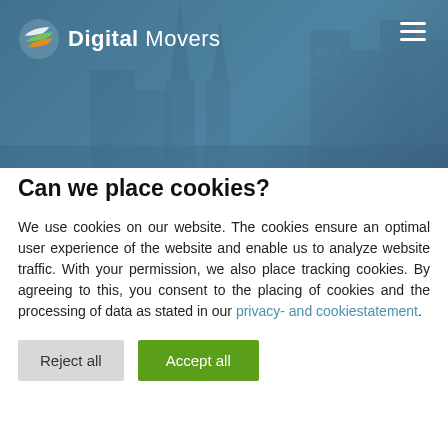[Figure (screenshot): Digital Movers website header banner with city background (blue-tinted buildings/cathedral), logo with stylized arrow icon on the left, bold 'Digital Movers' text, and hamburger menu icon on the right]
Can we place cookies?
We use cookies on our website. The cookies ensure an optimal user experience of the website and enable us to analyze website traffic. With your permission, we also place tracking cookies. By agreeing to this, you consent to the placing of cookies and the processing of data as stated in our privacy- and cookiestatement.